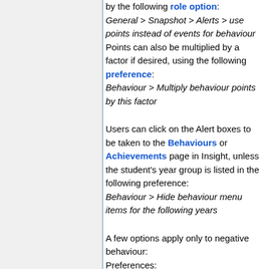by the following role option: General > Snapshot > Alerts > use points instead of events for behaviour Points can also be multiplied by a factor if desired, using the following preference: Behaviour > Multiply behaviour points by this factor
Users can click on the Alert boxes to be taken to the Behaviours or Achievements page in Insight, unless the student's year group is listed in the following preference: Behaviour > Hide behaviour menu items for the following years
A few options apply only to negative behaviour: Preferences: